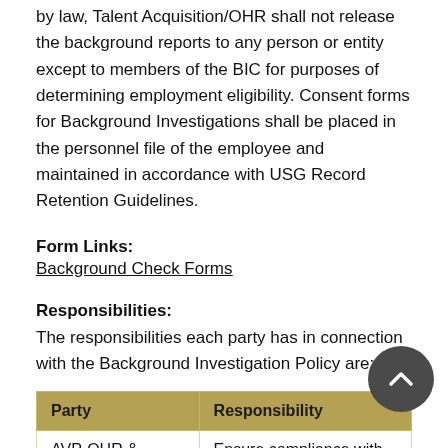by law, Talent Acquisition/OHR shall not release the background reports to any person or entity except to members of the BIC for purposes of determining employment eligibility. Consent forms for Background Investigations shall be placed in the personnel file of the employee and maintained in accordance with USG Record Retention Guidelines.
Form Links:
Background Check Forms
Responsibilities:
The responsibilities each party has in connection with the Background Investigation Policy are:
| Party | Responsibility |
| --- | --- |
| AVP-OHR & Employee | Ensure compliance with policy. |